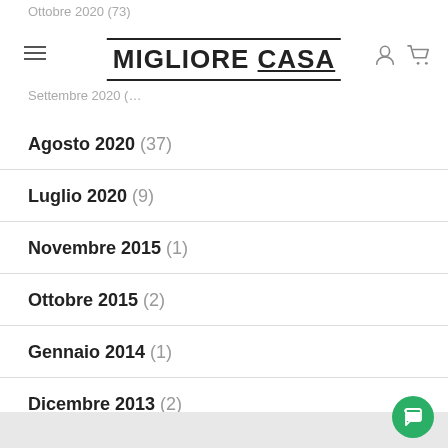MIGLIORE CASA
Agosto 2020 (37)
Luglio 2020 (9)
Novembre 2015 (1)
Ottobre 2015 (2)
Gennaio 2014 (1)
Dicembre 2013 (2)
Agosto 2013 (2)